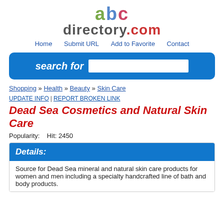[Figure (logo): ABCdirectory.com logo with colorful letters]
Home   Submit URL   Add to Favorite   Contact
[Figure (other): Search bar with label 'search for' and text input]
Shopping » Health » Beauty » Skin Care
UPDATE INFO | REPORT BROKEN LINK
Dead Sea Cosmetics and Natural Skin Care
Popularity:   Hit: 2450
Details:
Source for Dead Sea mineral and natural skin care products for women and men including a specialty handcrafted line of bath and body products.